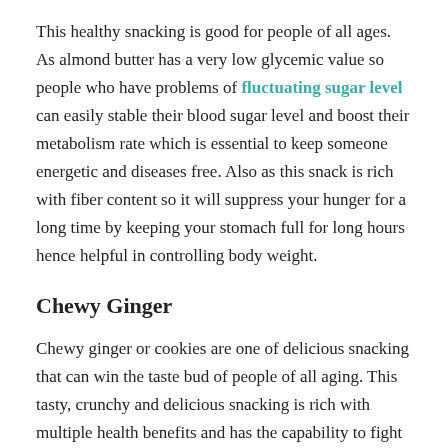This healthy snacking is good for people of all ages. As almond butter has a very low glycemic value so people who have problems of fluctuating sugar level can easily stable their blood sugar level and boost their metabolism rate which is essential to keep someone energetic and diseases free. Also as this snack is rich with fiber content so it will suppress your hunger for a long time by keeping your stomach full for long hours hence helpful in controlling body weight.
Chewy Ginger
Chewy ginger or cookies are one of delicious snacking that can win the taste bud of people of all aging. This tasty, crunchy and delicious snacking is rich with multiple health benefits and has the capability to fight with even a severe health concern.